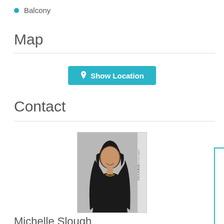Balcony
Map
[Figure (other): Show Location button with map pin icon]
Contact
[Figure (photo): Professional headshot photo of Michelle Slough, a real estate agent with KW Obarrio. She is wearing a black sleeveless dress and smiling. The KW Obarrio branding appears vertically on the right side of the photo.]
Michelle Slough